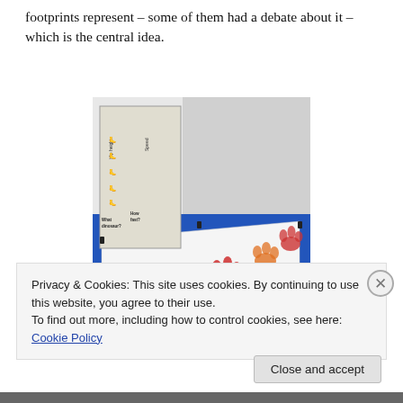footprints represent – some of them had a debate about it – which is the central idea.
[Figure (photo): Photo of a display table covered with blue cloth, showing a long white paper roll with painted red and orange dinosaur footprints arranged in a line. Behind the table is a standing display board showing dinosaur footprint comparisons with questions 'What dinosaur?' and 'How fast?' and measurements for hip height and speed.]
Privacy & Cookies: This site uses cookies. By continuing to use this website, you agree to their use.
To find out more, including how to control cookies, see here: Cookie Policy
Close and accept